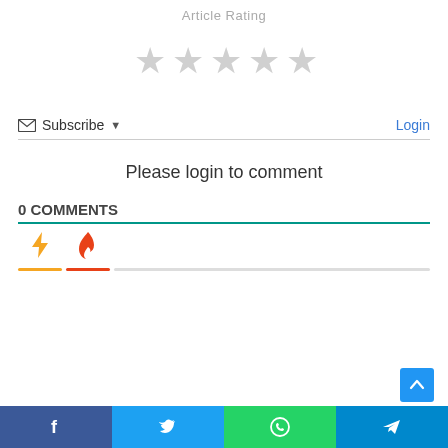Article Rating
[Figure (other): Five empty grey stars for article rating]
Subscribe ▾
Login
Please login to comment
0 COMMENTS
[Figure (other): Tab icons: lightning bolt (orange) and flame (red-orange), with colored underlines]
[Figure (other): Scroll to top button (blue square with up arrow)]
Facebook | Twitter | WhatsApp | Telegram